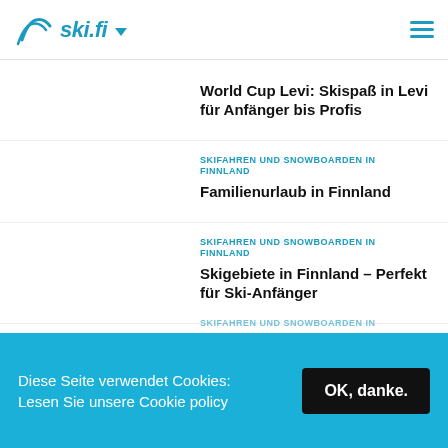ski.fi
World Cup Levi: Skispaß in Levi für Anfänger bis Profis
SKIFAHREN UND SNOWBOARDEN IN FINNLAND
Familienurlaub in Finnland
SKIFAHREN UND SNOWBOARDEN IN FINNLAND
Skigebiete in Finnland – Perfekt für Ski-Anfänger
SKIFAHREN UND SNOWBOARDEN IN
Diese Seite verwendet Cookies: Lesen Sie unsere Cookie policy
OK, danke.